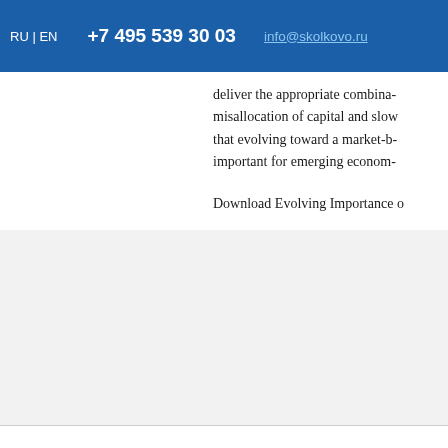RU | EN   +7 495 539 30 03   info@skolkovo.ru
deliver the appropriate combina- misallocation of capital and slo- that evolving toward a market-b- important for emerging econom-
Download Evolving Importance o